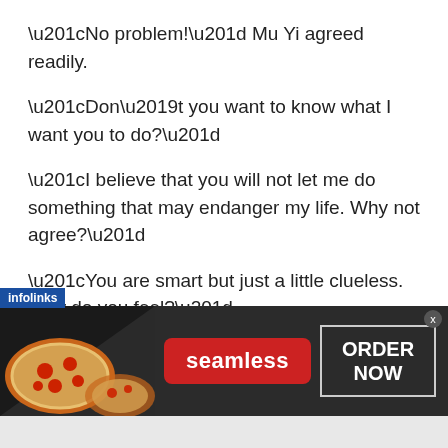“No problem!” Mu Yi agreed readily.
“Don’t you want to know what I want you to do?”
“I believe that you will not let me do something that may endanger my life. Why not agree?”
“You are smart but just a little clueless. How do you feel?”
Leng Yu turned around and looked at the unmarked common graves. It seemed that the fierce ghost was still watching them.
[Figure (screenshot): Advertisement banner for Seamless food delivery service. Dark background with pizza image on left, red Seamless logo button in center, and ORDER NOW text in white box on right. Infolinks label in blue at top-left of ad.]